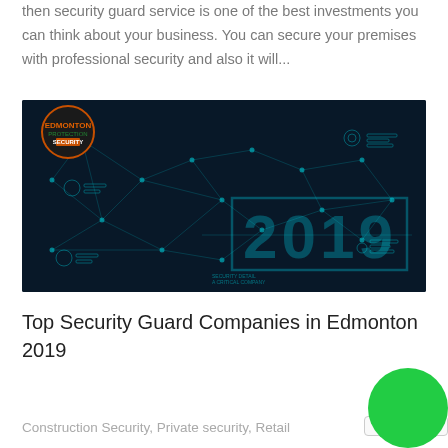then security guard service is one of the best investments you can think about your business. You can secure your premises with professional security and also it will...
[Figure (illustration): Dark tech-themed banner image with world map network visualization, the year '2019' displayed in large teal text with a border, geometric triangle network lines overlaid on the map, and a company logo (circular badge with orange border and green/orange icon) in the top-left corner.]
Top Security Guard Companies in Edmonton 2019
Construction Security, Private security, Retail